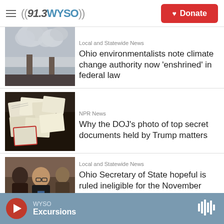((91.3WYSO)) Donate
[Figure (photo): Industrial smokestacks emitting large plumes of grey smoke against a cloudy sky]
Local and Statewide News
Ohio environmentalists note climate change authority now ‘enshrined’ in federal law
[Figure (photo): Documents and papers spread out, including what appear to be classified or official documents]
NPR News
Why the DOJ's photo of top secret documents held by Trump matters
[Figure (photo): People seated, a woman with glasses looking at a phone in what appears to be a meeting room]
Local and Statewide News
Ohio Secretary of State hopeful is ruled ineligible for the November
WYSO Excursions